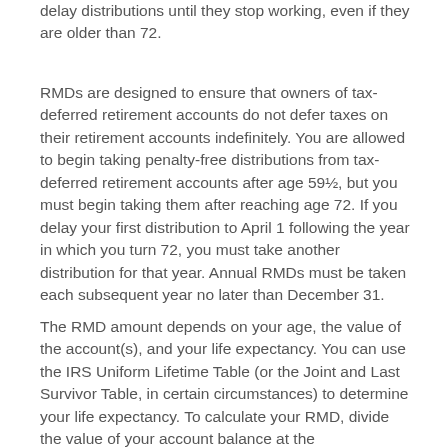delay distributions until they stop working, even if they are older than 72.
RMDs are designed to ensure that owners of tax-deferred retirement accounts do not defer taxes on their retirement accounts indefinitely. You are allowed to begin taking penalty-free distributions from tax-deferred retirement accounts after age 59½, but you must begin taking them after reaching age 72. If you delay your first distribution to April 1 following the year in which you turn 72, you must take another distribution for that year. Annual RMDs must be taken each subsequent year no later than December 31.
The RMD amount depends on your age, the value of the account(s), and your life expectancy. You can use the IRS Uniform Lifetime Table (or the Joint and Last Survivor Table, in certain circumstances) to determine your life expectancy. To calculate your RMD, divide the value of your account balance at the